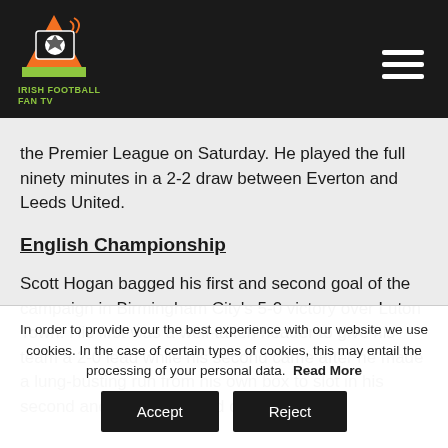IRISH FOOTBALL FAN TV
the Premier League on Saturday. He played the full ninety minutes in a 2-2 draw between Everton and Leeds United.
English Championship
Scott Hogan bagged his first and second goal of the campaign in Birmingham City's 5-0 victory over Luton Town. His first was a well-taken header to give his team a 2-0 lead while his second came after he made a lung-busting run from his own box to slot in his second and the Blues' third of the
In order to provide your the best experience with our website we use cookies. In the case of certain types of cookies, this may entail the processing of your personal data. Read More